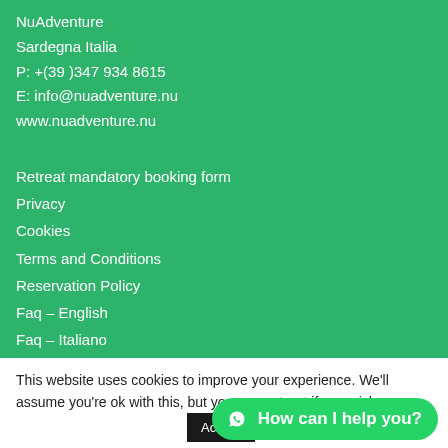NuAdventure
Sardegna Italia
P: +(39 )347 934 8615
E: info@nuadventure.nu
www.nuadventure.nu
Retreat mandatory booking form
Privacy
Cookies
Terms and Conditions
Reservation Policy
Faq – English
Faq – Italiano
This website uses cookies to improve your experience. We'll assume you're ok with this, but you can opt-out if you wish.
Accept   Settings